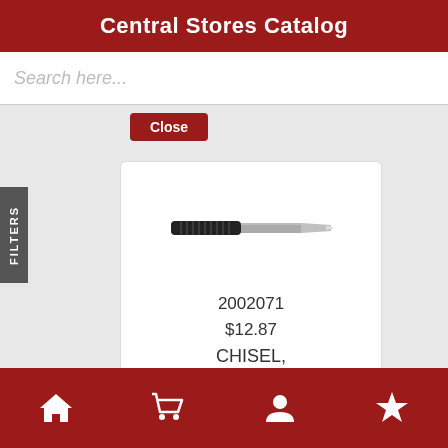Central Stores Catalog
Search here...
Close
FILTERS
[Figure (photo): A black metal chisel tool photographed horizontally against a white background]
2002071
$12.87
CHISEL,